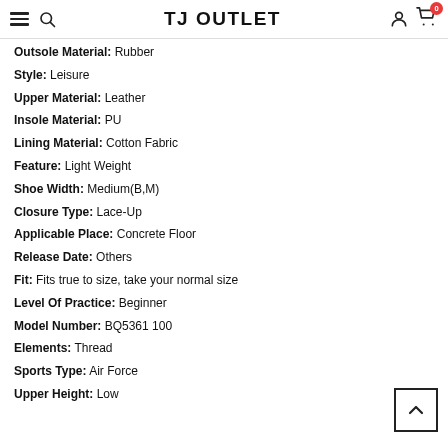TJ OUTLET
Outsole Material: Rubber
Style: Leisure
Upper Material: Leather
Insole Material: PU
Lining Material: Cotton Fabric
Feature: Light Weight
Shoe Width: Medium(B,M)
Closure Type: Lace-Up
Applicable Place: Concrete Floor
Release Date: Others
Fit: Fits true to size, take your normal size
Level Of Practice: Beginner
Model Number: BQ5361 100
Elements: Thread
Sports Type: Air Force
Upper Height: Low